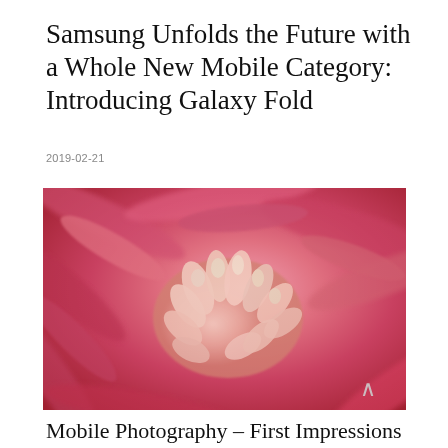Samsung Unfolds the Future with a Whole New Mobile Category: Introducing Galaxy Fold
2019-02-21
[Figure (photo): Close-up macro photograph of a pink/red chrysanthemum flower showing detailed petals and stamens]
Mobile Photography – First Impressions